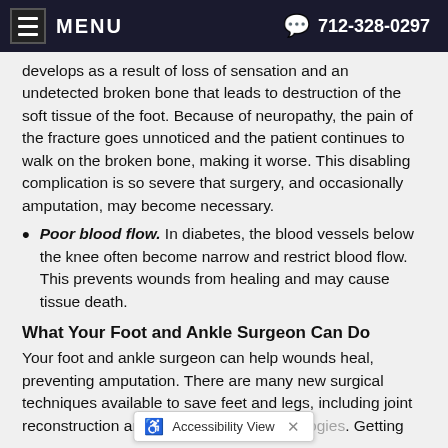MENU  712-328-0297
develops as a result of loss of sensation and an undetected broken bone that leads to destruction of the soft tissue of the foot. Because of neuropathy, the pain of the fracture goes unnoticed and the patient continues to walk on the broken bone, making it worse. This disabling complication is so severe that surgery, and occasionally amputation, may become necessary.
Poor blood flow. In diabetes, the blood vessels below the knee often become narrow and restrict blood flow. This prevents wounds from healing and may cause tissue death.
What Your Foot and Ankle Surgeon Can Do
Your foot and ankle surgeon can help wounds heal, preventing amputation. There are many new surgical techniques available to save feet and legs, including joint reconstruction and woun... Getting